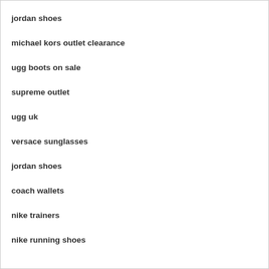jordan shoes
michael kors outlet clearance
ugg boots on sale
supreme outlet
ugg uk
versace sunglasses
jordan shoes
coach wallets
nike trainers
nike running shoes